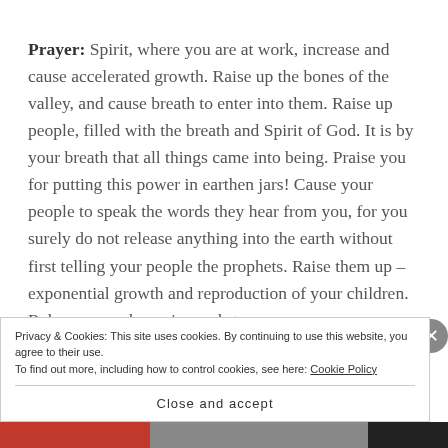Prayer: Spirit, where you are at work, increase and cause accelerated growth. Raise up the bones of the valley, and cause breath to enter into them. Raise up people, filled with the breath and Spirit of God. It is by your breath that all things came into being. Praise you for putting this power in earthen jars! Cause your people to speak the words they hear from you, for you surely do not release anything into the earth without first telling your people the prophets. Raise them up – exponential growth and reproduction of your children. Release your dynamis words to
Privacy & Cookies: This site uses cookies. By continuing to use this website, you agree to their use.
To find out more, including how to control cookies, see here: Cookie Policy
Close and accept